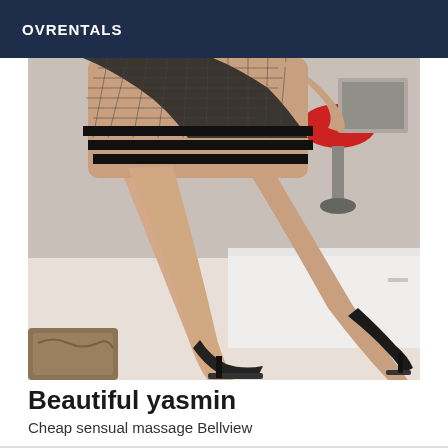OVRENTALS
[Figure (photo): A woman in a black fishnet mini dress and black high heels posing on/near a white surface, with a red lampshade visible in the background.]
Beautiful yasmin
Cheap sensual massage Bellview